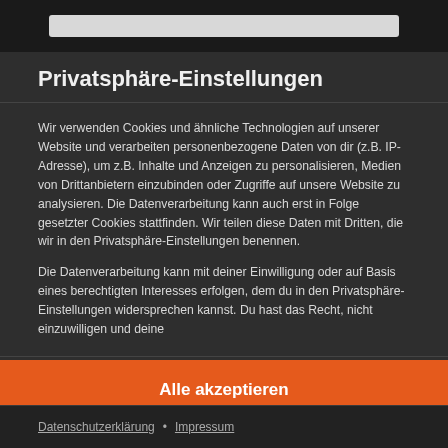Privatsphäre-Einstellungen
Wir verwenden Cookies und ähnliche Technologien auf unserer Website und verarbeiten personenbezogene Daten von dir (z.B. IP-Adresse), um z.B. Inhalte und Anzeigen zu personalisieren, Medien von Drittanbietern einzubinden oder Zugriffe auf unsere Website zu analysieren. Die Datenverarbeitung kann auch erst in Folge gesetzter Cookies stattfinden. Wir teilen diese Daten mit Dritten, die wir in den Privatsphäre-Einstellungen benennen.
Die Datenverarbeitung kann mit deiner Einwilligung oder auf Basis eines berechtigten Interesses erfolgen, dem du in den Privatsphäre-Einstellungen widersprechen kannst. Du hast das Recht, nicht einzuwilligen und deine
Alle akzeptieren
Weiter ohne Einwilligung
Privatsphäre-Einstellungen individuell festlegen
Datenschutzerklärung • Impressum